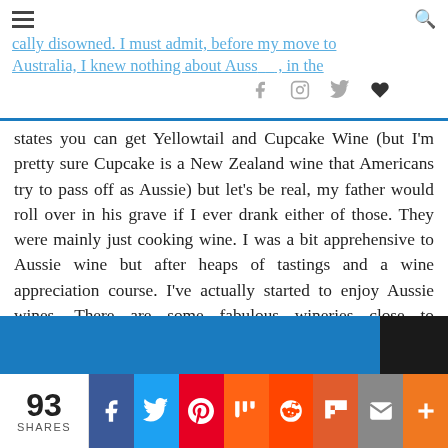cally disowned. I must admit, before my move to Australia, I knew nothing about Aussie wine, in the
states you can get Yellowtail and Cupcake Wine (but I'm pretty sure Cupcake is a New Zealand wine that Americans try to pass off as Aussie) but let's be real, my father would roll over in his grave if I ever drank either of those. They were mainly just cooking wine. I was a bit apprehensive to Aussie wine but after heaps of tastings and a wine appreciation course. I've actually started to enjoy Aussie wines. There are some fabulous wineries close to Melbourne. Yarra Valley is freaking awesome and if you're headed to Healesville why not stop and do some wine tasting? Mornington Peninsula also has some fantastic vineyards with great views of the ocean.
[Figure (other): Blue advertising banner with a dark/black section on the right]